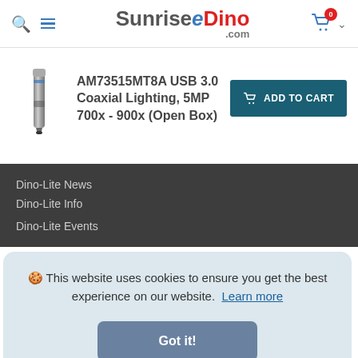SunriseDino.com
AM73515MT8A USB 3.0 Coaxial Lighting, 5MP 700x - 900x (Open Box)
[Figure (photo): Product photo of a USB digital microscope device, metallic pen-shaped instrument]
Dino-Lite News
Dino-Lite Info
Dino-Lite Events
🍪 This website uses cookies to ensure you get the best experience on our website. Learn more
Got it!